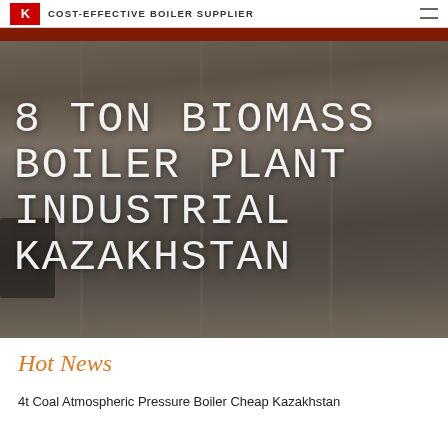COST-EFFECTIVE BOILER SUPPLIER
[Figure (photo): Industrial boiler manufacturing facility interior with heavy equipment, overhead crane with red beam, and various industrial machinery on the factory floor]
8 TON BIOMASS BOILER PLANT INDUSTRIAL KAZAKHSTAN
Hot News
4t Coal Atmospheric Pressure Boiler Cheap Kazakhstan